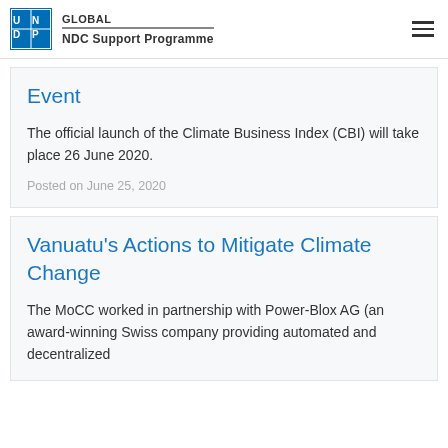GLOBAL NDC Support Programme
Event
The official launch of the Climate Business Index (CBI) will take place 26 June 2020.
Posted on June 25, 2020
Vanuatu's Actions to Mitigate Climate Change
The MoCC worked in partnership with Power-Blox AG (an award-winning Swiss company providing automated and decentralized